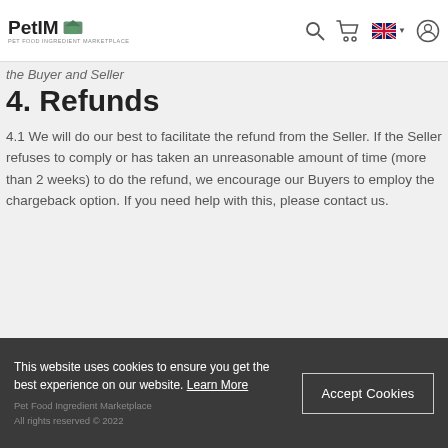PetIM — PET FOOD INGREDIENT MARKETPLACE
the Buyer and Seller
4. Refunds
4.1 We will do our best to facilitate the refund from the Seller. If the Seller refuses to comply or has taken an unreasonable amount of time (more than 2 weeks) to do the refund, we encourage our Buyers to employ the chargeback option. If you need help with this, please contact us.
ABOUT US
PRIVACY POLICY
FAQ
TERMS OF SERVICE
RETURN POLICY
CONTACT US
This website uses cookies to ensure you get the best experience on our website. Learn More
Pet Food Ingredient Marketplace. All rights reserved © 2022